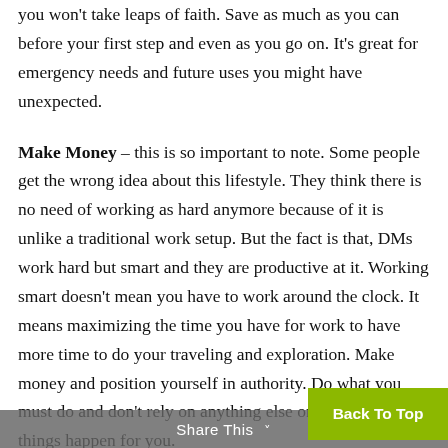you won't take leaps of faith. Save as much as you can before your first step and even as you go on. It's great for emergency needs and future uses you might have unexpected.
Make Money – this is so important to note. Some people get the wrong idea about this lifestyle. They think there is no need of working as hard anymore because of it is unlike a traditional work setup. But the fact is that, DMs work hard but smart and they are productive at it. Working smart doesn't mean you have to work around the clock. It means maximizing the time you have for work to have more time to do your traveling and exploration. Make money and position yourself in authority. Do what you must do and don't rely on anything else or others to make things happen for you.
Share This
Back To Top